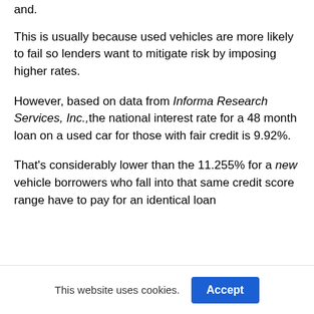and.
This is usually because used vehicles are more likely to fail so lenders want to mitigate risk by imposing higher rates.
However, based on data from Informa Research Services, Inc.,the national interest rate for a 48 month loan on a used car for those with fair credit is 9.92%.
That’s considerably lower than the 11.255% for a new vehicle borrowers who fall into that same credit score range have to pay for an identical loan
This website uses cookies.